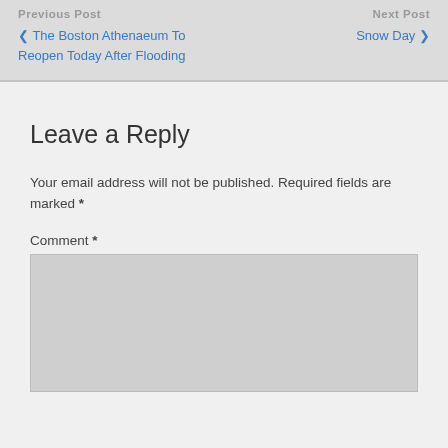Previous Post — The Boston Athenaeum To Reopen Today After Flooding | Next Post — Snow Day
Leave a Reply
Your email address will not be published. Required fields are marked *
Comment *